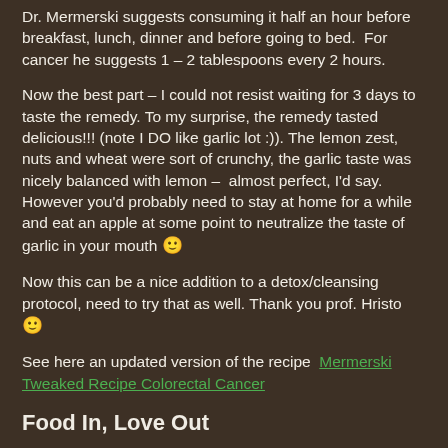Dr. Mermerski suggests consuming it half an hour before breakfast, lunch, dinner and before going to bed.  For cancer he suggests 1 – 2 tablespoons every 2 hours.
Now the best part – I could not resist waiting for 3 days to taste the remedy. To my surprise, the remedy tasted delicious!!! (note I DO like garlic lot :)). The lemon zest, nuts and wheat were sort of crunchy, the garlic taste was nicely balanced with lemon –  almost perfect, I'd say. However you'd probably need to stay at home for a while and eat an apple at some point to neutralize the taste of garlic in your mouth 🙂
Now this can be a nice addition to a detox/cleansing protocol, need to try that as well. Thank you prof. Hristo 🙂
See here an updated version of the recipe  Mermerski Tweaked Recipe Colorectal Cancer
Food In, Love Out